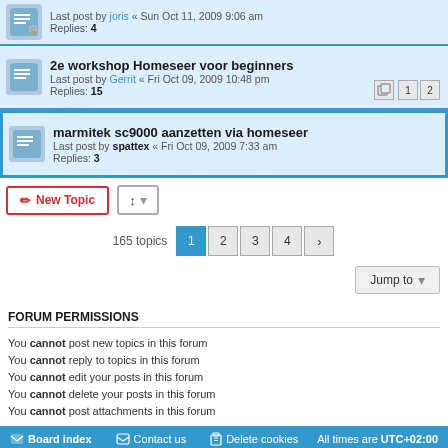Last post by joris « Sun Oct 11, 2009 9:06 am
Replies: 4
2e workshop Homeseer voor beginners
Last post by Gerrit « Fri Oct 09, 2009 10:48 pm
Replies: 15
marmitek sc9000 aanzetten via homeseer
Last post by spattex « Fri Oct 09, 2009 7:33 am
Replies: 3
New Topic  |  Sort  |  165 topics  1 2 3 4 >
Jump to
FORUM PERMISSIONS
You cannot post new topics in this forum
You cannot reply to topics in this forum
You cannot edit your posts in this forum
You cannot delete your posts in this forum
You cannot post attachments in this forum
Board index  Contact us  Delete cookies  All times are UTC+02:00
Powered by phpBB® Forum Software © phpBB Limited
Privacy | Terms